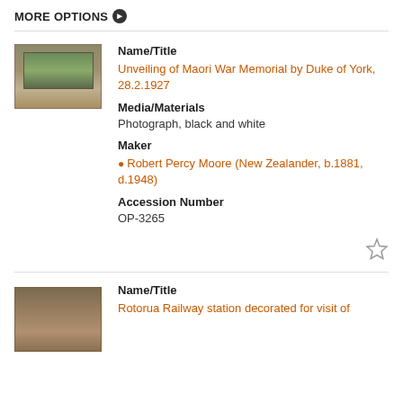MORE OPTIONS ❯
[Figure (photo): Thumbnail photograph showing a landscape scene, sepia/muted tones, framed look]
Name/Title
Unveiling of Maori War Memorial by Duke of York, 28.2.1927
Media/Materials
Photograph, black and white
Maker
Robert Percy Moore (New Zealander, b.1881, d.1948)
Accession Number
OP-3265
[Figure (photo): Second thumbnail photograph showing a railway station scene, sepia tones]
Name/Title
Rotorua Railway station decorated for visit of